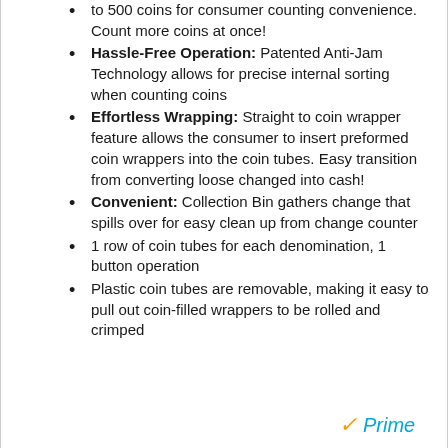to 500 coins for consumer counting convenience. Count more coins at once!
Hassle-Free Operation: Patented Anti-Jam Technology allows for precise internal sorting when counting coins
Effortless Wrapping: Straight to coin wrapper feature allows the consumer to insert preformed coin wrappers into the coin tubes. Easy transition from converting loose changed into cash!
Convenient: Collection Bin gathers change that spills over for easy clean up from change counter
1 row of coin tubes for each denomination, 1 button operation
Plastic coin tubes are removable, making it easy to pull out coin-filled wrappers to be rolled and crimped
[Figure (logo): Amazon Prime logo with orange checkmark and blue 'Prime' text]